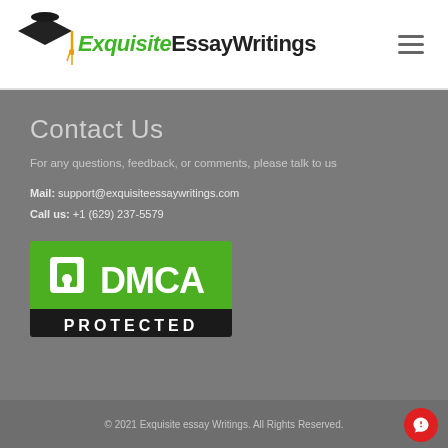[Figure (logo): Exquisite Essay Writings logo with graduation cap icon and green/black text]
Contact Us
For any questions, feedback, or comments, please talk to us
Mail: support@exquisiteessaywritings.com
Call us: +1 (629) 237-5579
[Figure (logo): DMCA Protected badge — green background with padlock icon, black bar reading PROTECTED]
© 2021 Exquisite essay Writings. All Rights Reserved.